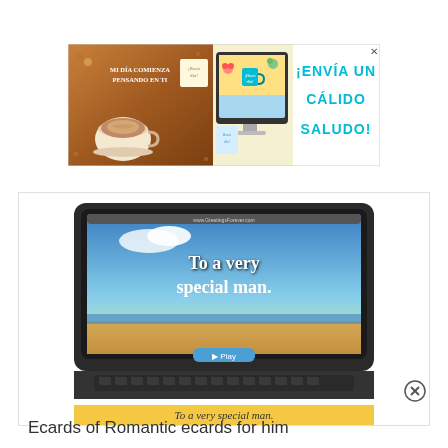[Figure (illustration): Advertisement banner in Spanish for greeting cards service. Left side shows a coffee cup on wooden background with Spanish text 'Mi día comienza pensando en ti'. Center shows a computer monitor displaying a 'Buen día!' greeting card with flowers. Right side shows cyan text '¡ENVÍA UN CÁLIDO SALUDO!' on white background.]
[Figure (screenshot): Ecard showing a laptop computer with a beach scene on screen. Text on screen reads 'To a very special man.' Below the laptop is a yellow caption bar reading 'To a very special man.' in italic text.]
Ecards of Romantic ecards for him